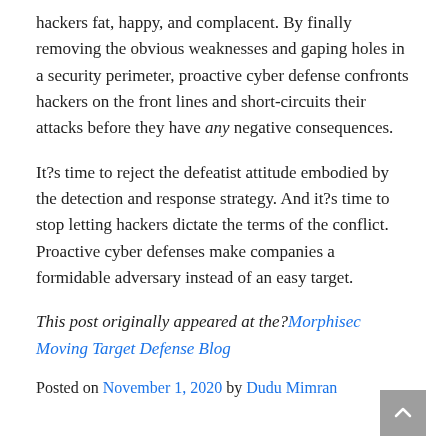hackers fat, happy, and complacent. By finally removing the obvious weaknesses and gaping holes in a security perimeter, proactive cyber defense confronts hackers on the front lines and short-circuits their attacks before they have any negative consequences.
It?s time to reject the defeatist attitude embodied by the detection and response strategy. And it?s time to stop letting hackers dictate the terms of the conflict. Proactive cyber defenses make companies a formidable adversary instead of an easy target.
This post originally appeared at the? Morphisec Moving Target Defense Blog
Posted on November 1, 2020 by Dudu Mimran